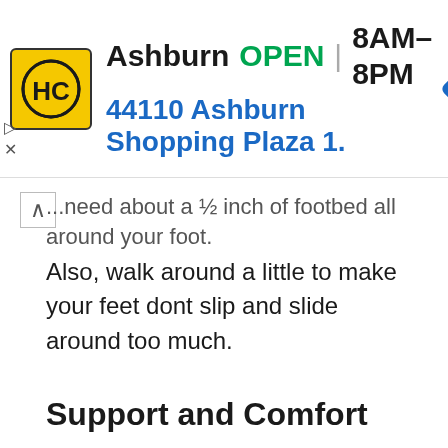[Figure (other): Advertisement banner for HC store in Ashburn. Logo: yellow square with HC letters. Text: Ashburn OPEN 8AM-8PM, 44110 Ashburn Shopping Plaza 1. Navigation arrow icon on right.]
...need about a ½ inch of footbed all around your foot.
Also, walk around a little to make your feet dont slip and slide around too much.
Support and Comfort